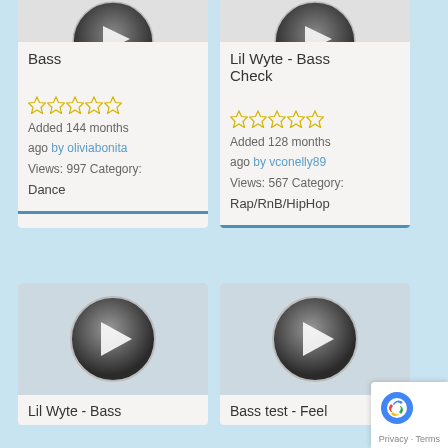Bass
Added 144 months ago by oliviabonita
Views: 997 Category: Dance
Lil Wyte - Bass Check
Added 128 months ago by vconelly89
Views: 567 Category: Rap/RnB/HipHop
[Figure (illustration): Play button icon for music card: Lil Wyte - Bass]
Lil Wyte - Bass
[Figure (illustration): Play button icon for music card: Bass test - Feel]
Bass test - Feel